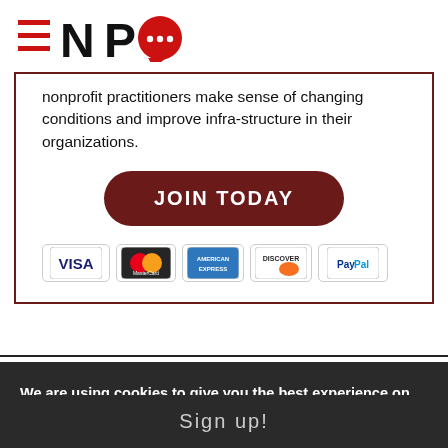[Figure (logo): NPQ logo with hamburger menu lines and red speech bubble]
nonprofit practitioners make sense of changing conditions and improve infra-structure in their organizations.
JOIN TODAY
[Figure (other): Payment method icons: VISA, MasterCard, American Express, Discover, PayPal]
We are using cookies to give you the best experience on our website.
Sign up!